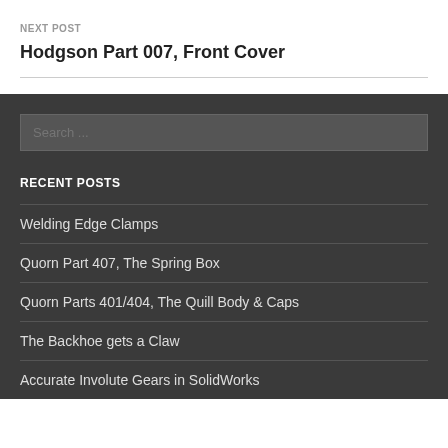NEXT POST
Hodgson Part 007, Front Cover
Search ...
RECENT POSTS
Welding Edge Clamps
Quorn Part 407, The Spring Box
Quorn Parts 401/404, The Quill Body & Caps
The Backhoe gets a Claw
Accurate Involute Gears in SolidWorks